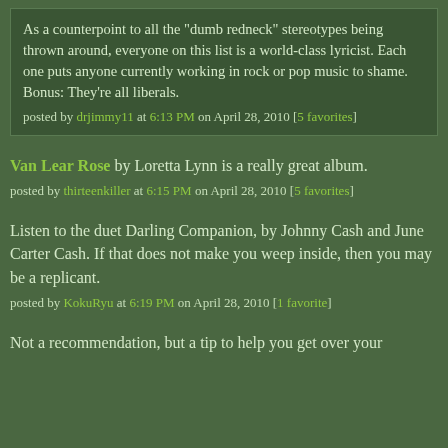As a counterpoint to all the "dumb redneck" stereotypes being thrown around, everyone on this list is a world-class lyricist. Each one puts anyone currently working in rock or pop music to shame. Bonus: They're all liberals.
posted by drjimmy11 at 6:13 PM on April 28, 2010 [5 favorites]
Van Lear Rose by Loretta Lynn is a really great album.
posted by thirteenkiller at 6:15 PM on April 28, 2010 [5 favorites]
Listen to the duet Darling Companion, by Johnny Cash and June Carter Cash. If that does not make you weep inside, then you may be a replicant.
posted by KokuRyu at 6:19 PM on April 28, 2010 [1 favorite]
Not a recommendation, but a tip to help you get over your...